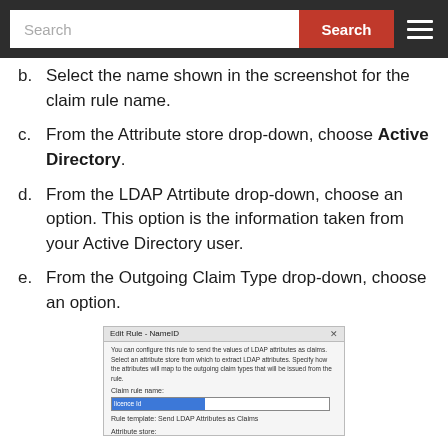Search | Search
b. Select the name shown in the screenshot for the claim rule name.
c. From the Attribute store drop-down, choose Active Directory.
d. From the LDAP Atrtibute drop-down, choose an option. This option is the information taken from your Active Directory user.
e. From the Outgoing Claim Type drop-down, choose an option.
[Figure (screenshot): Screenshot of Edit Rule - NameID dialog showing Claim rule name field with highlighted text, Rule template: Send LDAP Attributes as Claims, and Attribute store section]